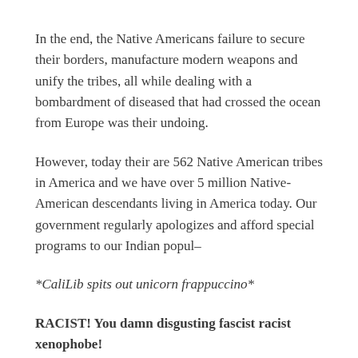In the end, the Native Americans failure to secure their borders, manufacture modern weapons and unify the tribes, all while dealing with a bombardment of diseased that had crossed the ocean from Europe was their undoing.
However, today their are 562 Native American tribes in America and we have over 5 million Native-American descendants living in America today. Our government regularly apologizes and afford special programs to our Indian popul–
*CaliLib spits out unicorn frappuccino*
RACIST! You damn disgusting fascist racist xenophobe!